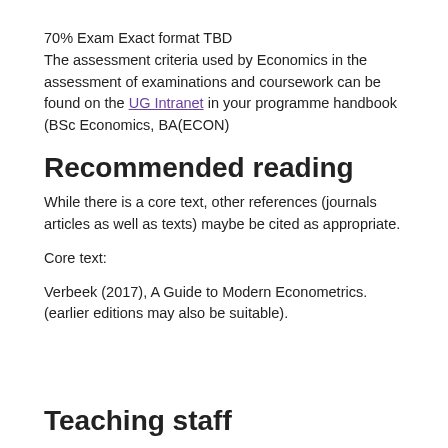70% Exam Exact format TBD
The assessment criteria used by Economics in the assessment of examinations and coursework can be found on the UG Intranet in your programme handbook (BSc Economics, BA(ECON)
Recommended reading
While there is a core text, other references (journals articles as well as texts) maybe be cited as appropriate.
Core text:
Verbeek (2017), A Guide to Modern Econometrics. (earlier editions may also be suitable).
Teaching staff